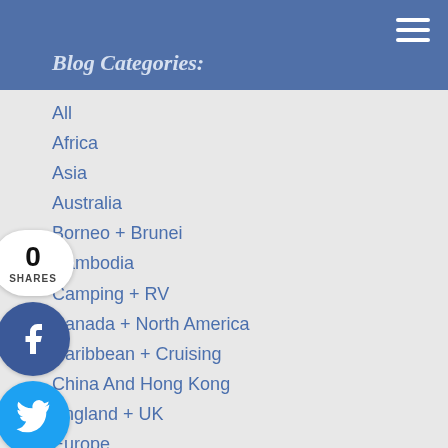Blog Categories:
All
Africa
Asia
Australia
Borneo + Brunei
Cambodia
Camping + RV
Canada + North America
Caribbean + Cruising
China And Hong Kong
England + UK
Europe
Green And Ethical Travel
Hiking And Trekking
India
Indonesia
Malaysia
New Zealand
[Figure (infographic): Social share widget showing 0 shares, with Facebook, Twitter, Pinterest, and Google+ buttons]